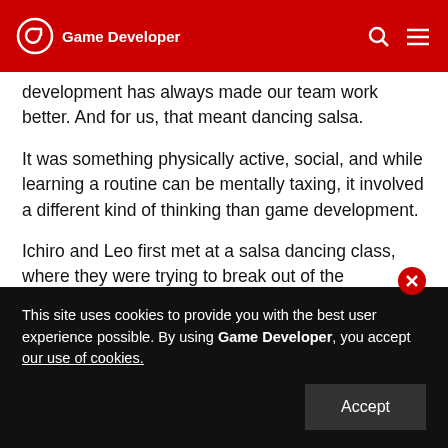Game Developer
development has always made our team work better. And for us, that meant dancing salsa.
It was something physically active, social, and while learning a routine can be mentally taxing, it involved a different kind of thinking than game development.
Ichiro and Leo first met at a salsa dancing class, where they were trying to break out of the science/engineering stereotypes and loosen up.
During development of Aaaaa!, weekends were largely no-work zones, while our brains caught up
This site uses cookies to provide you with the best user experience possible. By using Game Developer, you accept our use of cookies.